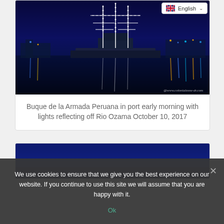[Figure (photo): Night photo of Buque de la Armada Peruana (Peruvian Navy ship) in port with white lights outlining its masts and rigging, reflecting off the Rio Ozama river. Dark blue water with colorful light reflections. Watermark: @www.colonialzone-dr.com]
Buque de la Armada Peruana in port early morning with lights reflecting off Rio Ozama October 10, 2017
[Figure (photo): Partial view of a second photo, showing dark blue sky/water scene, partially obscured by cookie consent banner.]
We use cookies to ensure that we give you the best experience on our website. If you continue to use this site we will assume that you are happy with it.
Ok